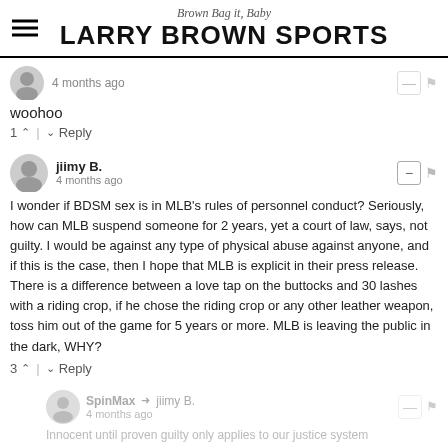Brown Bag it, Baby
LARRY BROWN SPORTS
4 months ago
woohoo
1 ↑ | ↓ Reply
jiimy B.
4 months ago
I wonder if BDSM sex is in MLB's rules of personnel conduct? Seriously, how can MLB suspend someone for 2 years, yet a court of law, says, not guilty. I would be against any type of physical abuse against anyone, and if this is the case, then I hope that MLB is explicit in their press release. There is a difference between a love tap on the buttocks and 30 lashes with a riding crop, if he chose the riding crop or any other leather weapon, toss him out of the game for 5 years or more. MLB is leaving the public in the dark, WHY?
3 ↑ | ↓ Reply
SpinMax → jiimy B.
4 months ago
Innocent until proven guilty only applies to our justice system